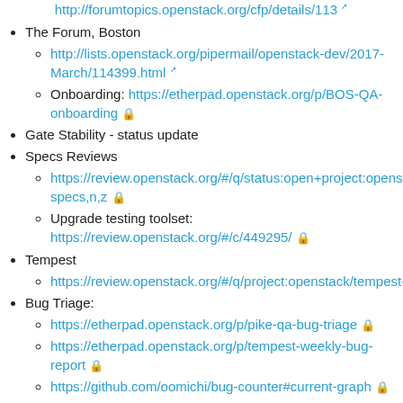http://forumtopics.openstack.org/cfp/details/113
The Forum, Boston
http://lists.openstack.org/pipermail/openstack-dev/2017-March/114399.html
Onboarding: https://etherpad.openstack.org/p/BOS-QA-onboarding
Gate Stability - status update
Specs Reviews
https://review.openstack.org/#/q/status:open+project:openstack/specs,n,z
Upgrade testing toolset: https://review.openstack.org/#/c/449295/
Tempest
https://review.openstack.org/#/q/project:openstack/tempest+st
Bug Triage:
https://etherpad.openstack.org/p/pike-qa-bug-triage
https://etherpad.openstack.org/p/tempest-weekly-bug-report
https://github.com/oomichi/bug-counter#current-graph
Patrole
https://review.openstack.org/#/q/project:openstack/patrole